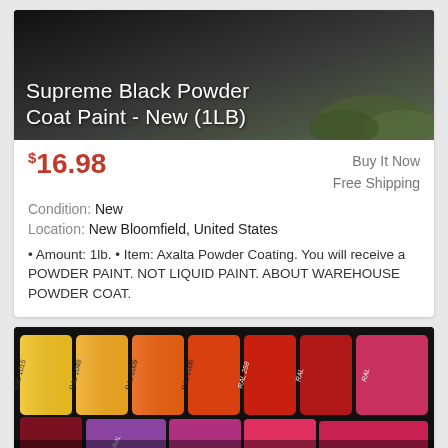[Figure (photo): Dark black powder coat paint product photo with dark background and vegetation]
Supreme Black Powder Coat Paint - New (1LB)
$16.98   Buy It Now   Free Shipping
Condition: New
Location: New Bloomfield, United States
• Amount: 1lb. • Item: Axalta Powder Coating. You will receive a POWDER PAINT. NOT LIQUID PAINT. ABOUT WAREHOUSE POWDER COAT.
[Figure (photo): Colorful powder coat paint bags in yellow, orange, red, pink, and purple colors with RAL labels]
Low Temp Gloss Powder